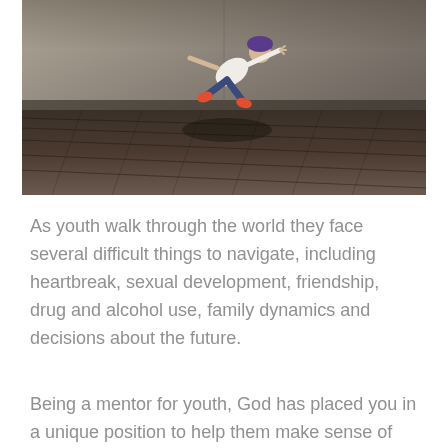[Figure (photo): A person doing a breakdance move or parkour jump, airborne and horizontal, wearing a purple cap and white shirt, against a concrete wall background with wooden floor boards.]
As youth walk through the world they face several difficult things to navigate, including heartbreak, sexual development, friendship, drug and alcohol use, family dynamics and decisions about the future.
Being a mentor for youth, God has placed you in a unique position to help them make sense of